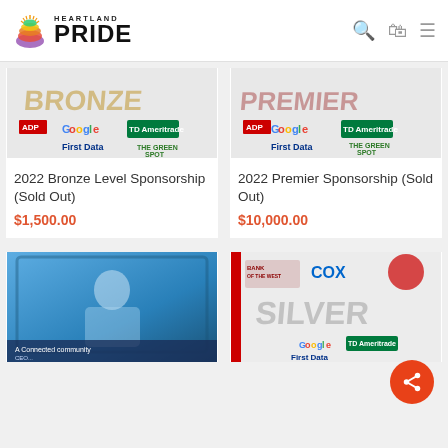Heartland Pride
[Figure (illustration): 2022 Bronze Level Sponsorship product image showing Bronze/Premier sponsorship packages with logos including Google, TD Ameritrade, ADP, First Data, The Green Spot]
2022 Bronze Level Sponsorship (Sold Out)
$1,500.00
[Figure (illustration): 2022 Premier Sponsorship product image with similar sponsor logos]
2022 Premier Sponsorship (Sold Out)
$10,000.00
[Figure (photo): Photo of a person looking at a screen with text 'A Connected community CEO...']
[Figure (illustration): Silver level sponsorship package with logos including Bank of the West, Cox, Google, TD Ameritrade, First Data and others]